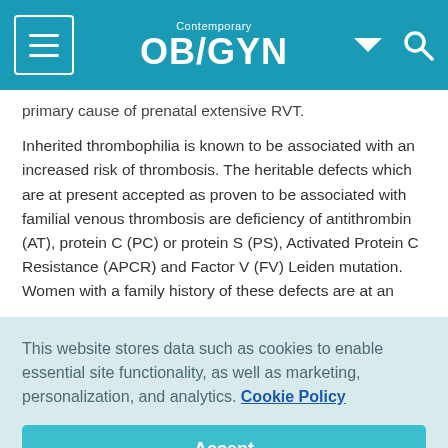Contemporary OB/GYN
primary cause of prenatal extensive RVT.
Inherited thrombophilia is known to be associated with an increased risk of thrombosis. The heritable defects which are at present accepted as proven to be associated with familial venous thrombosis are deficiency of antithrombin (AT), protein C (PC) or protein S (PS), Activated Protein C Resistance (APCR) and Factor V (FV) Leiden mutation. Women with a family history of these defects are at an
This website stores data such as cookies to enable essential site functionality, as well as marketing, personalization, and analytics. Cookie Policy
Accept
Deny